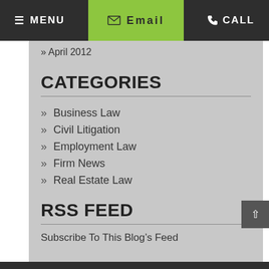MENU | Email | CALL
» April 2012
CATEGORIES
» Business Law
» Civil Litigation
» Employment Law
» Firm News
» Real Estate Law
RSS FEED
Subscribe To This Blog's Feed